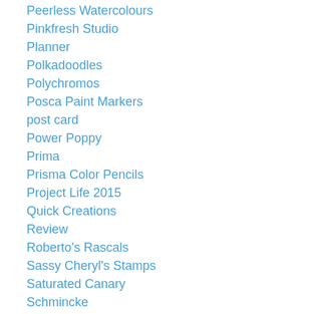Peerless Watercolours
Pinkfresh Studio
Planner
Polkadoodles
Polychromos
Posca Paint Markers
post card
Power Poppy
Prima
Prisma Color Pencils
Project Life 2015
Quick Creations
Review
Roberto's Rascals
Sassy Cheryl's Stamps
Saturated Canary
Schmincke
Scrapadabadoo
Scrapiniec
Scraptastic